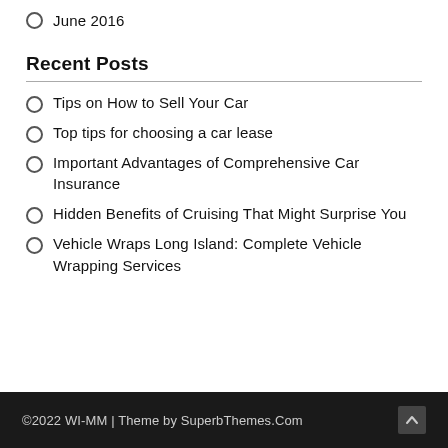June 2016
Recent Posts
Tips on How to Sell Your Car
Top tips for choosing a car lease
Important Advantages of Comprehensive Car Insurance
Hidden Benefits of Cruising That Might Surprise You
Vehicle Wraps Long Island: Complete Vehicle Wrapping Services
©2022 WI-MM | Theme by SuperbThemes.Com